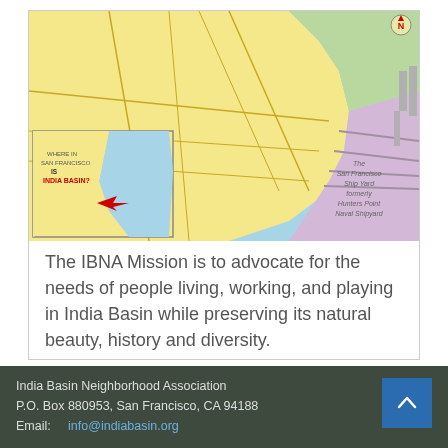[Figure (map): Map of India Basin area in San Francisco, showing streets, waterfront, shipyard area (Hunters Point), with an inset map locating India Basin within San Francisco. The main map shows yellow, green, and purple colored zones near the bay.]
The IBNA Mission is to advocate for the needs of people living, working, and playing in India Basin while preserving its natural beauty, history and diversity.
India Basin Neighborhood Association
P.O. Box 880953, San Francisco, CA 94188
Email:    info@indiabasin.org